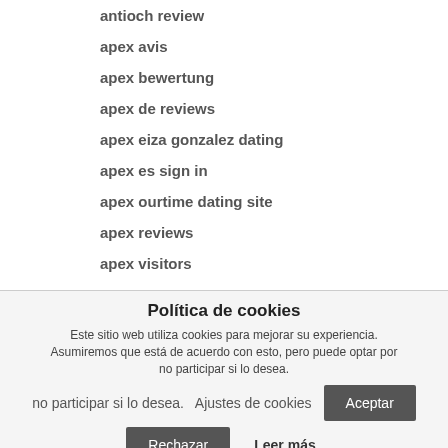antioch review
apex avis
apex bewertung
apex de reviews
apex eiza gonzalez dating
apex es sign in
apex ourtime dating site
apex reviews
apex visitors
Política de cookies
Este sitio web utiliza cookies para mejorar su experiencia. Asumiremos que está de acuerdo con esto, pero puede optar por no participar si lo desea.
Ajustes de cookies
Aceptar
Rechazar
Leer más